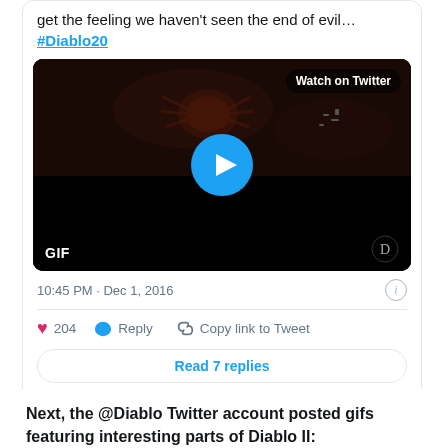get the feeling we haven't seen the end of evil… #Diablo20
[Figure (screenshot): A GIF preview from Diablo game with dark reddish-brown background showing a spider-like creature, with a blue play button in the center, 'Watch on Twitter' label in top right, 'GIF' label in bottom left, and Diablo logo in bottom right.]
10:45 PM · Dec 1, 2016
204   Reply   Copy link to Tweet
Read 7 replies
Next, the @Diablo Twitter account posted gifs featuring interesting parts of Diablo II: